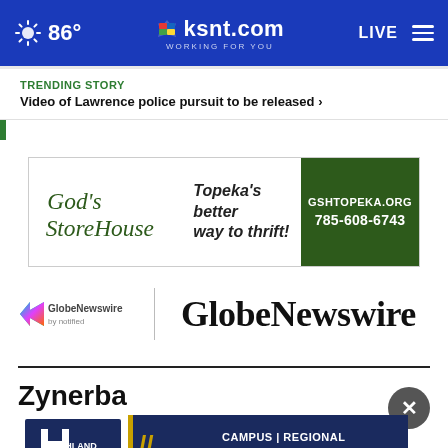86° ksnt.com WORKING FOR YOU LIVE
TRENDING STORY
Video of Lawrence police pursuit to be released ›
[Figure (other): God's StoreHouse advertisement - Topeka's better way to thrift! GSHTOPEKA.ORG 785-608-6743]
[Figure (logo): GlobeNewswire by notified logo with GlobeNewswire text]
Zynerba Pharmaceuticals Announces Top-Line Results from Open
[Figure (other): Highland Community College advertisement - Campus | Regional Online | Technical]